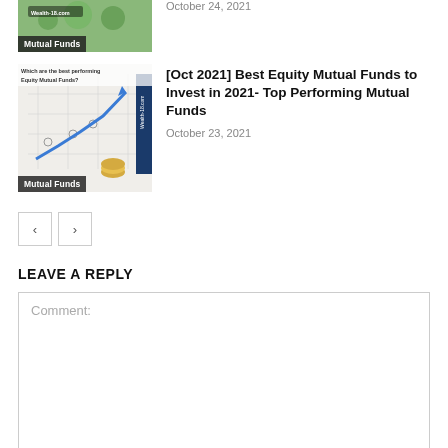[Figure (photo): Thumbnail image with 'Mutual Funds' label, partially visible at top]
October 24, 2021
[Figure (photo): Thumbnail showing chart with upward arrow trend and coins, labeled 'Which are the best performing Equity Mutual Funds?' with 'Mutual Funds' label]
[Oct 2021] Best Equity Mutual Funds to Invest in 2021- Top Performing Mutual Funds
October 23, 2021
LEAVE A REPLY